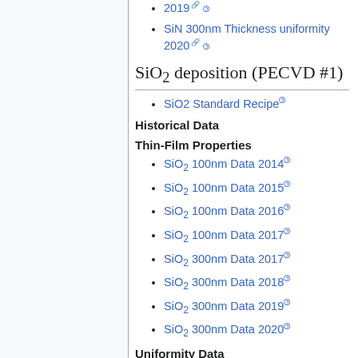2019
SiN 300nm Thickness uniformity 2020
SiO2 deposition (PECVD #1)
SiO2 Standard Recipe
Historical Data
Thin-Film Properties
SiO2 100nm Data 2014
SiO2 100nm Data 2015
SiO2 100nm Data 2016
SiO2 100nm Data 2017
SiO2 300nm Data 2017
SiO2 300nm Data 2018
SiO2 300nm Data 2019
SiO2 300nm Data 2020
Uniformity Data
SiO2 100nm Thickness uniformity